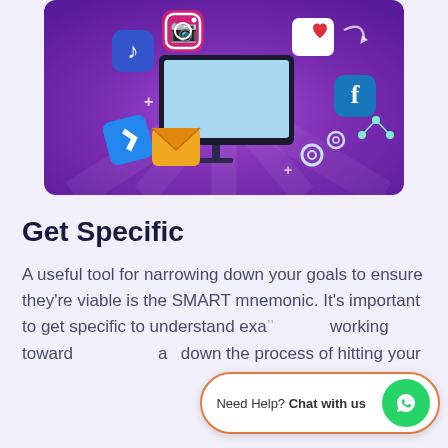[Figure (illustration): A purple gradient banner illustration showing a computer monitor surrounded by floating 3D icons including social media logos (Instagram, Facebook), music note, email/envelope, heart, gear/settings icons, and arrows, on a vibrant purple background.]
Get Specific
A useful tool for narrowing down your goals to ensure they're viable is the SMART mnemonic. It's important to get specific to understand exa... working toward a... down the process of hitting your